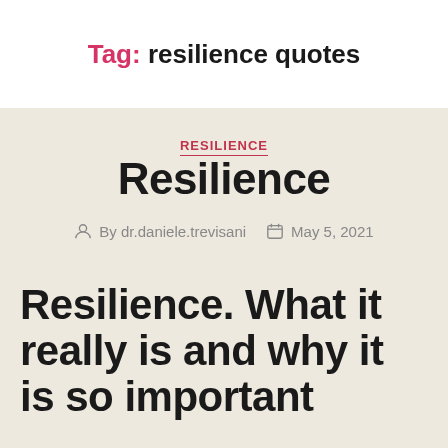Tag: resilience quotes
RESILIENCE
Resilience
By dr.daniele.trevisani   May 5, 2021
Resilience. What it really is and why it is so important